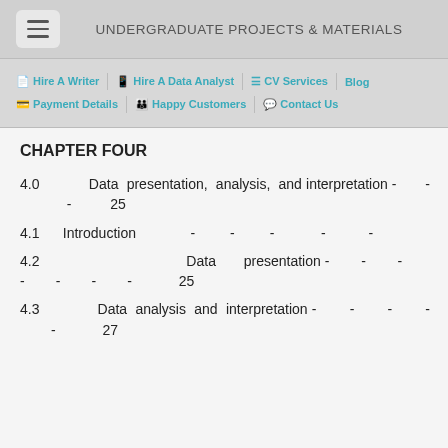UNDERGRADUATE PROJECTS & MATERIALS
Hire A Writer | Hire A Data Analyst | CV Services | Blog | Payment Details | Happy Customers | Contact Us
CHAPTER FOUR
4.0   Data presentation, analysis, and interpretation -  -  -  25
4.1   Introduction  -  -  -  -  -
4.2   Data presentation  -  -  -  -  -  -  -  25
4.3   Data analysis and interpretation  -  -  -  -  -  27